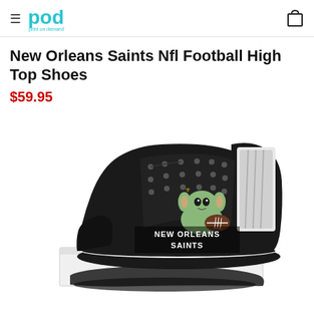pod — print on demand
New Orleans Saints Nfl Football High Top Shoes
$59.95
[Figure (photo): Black high-top sneaker with New Orleans Saints and Baby Yoda graphic on the side panel, displayed on a white shoe box. A second shoe is partially visible at the bottom. Text on shoe reads 'NEW ORLEANS SAINTS'.]